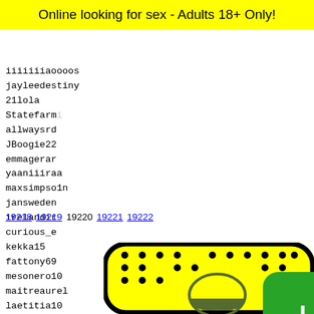Online looking for sex - Adults 18+ Only!
iiiiiiiaoooos
jayleedestiny
21lola
Statefarm...
allwaysrd...
JBoogie22...
emmagerar...
yaaniiiraa...
maxsimpso1n
jansweden...
irelandir...
curious_e...
kekka15
fattony69...
mesonero10
maitreaurel
laetitia10
er1417
unasialovehone...
tonitulip
LizSDI
ggcapo...
Obeybe...
camill...
damodr...
martag...
[Figure (infographic): Green button with text 'I AM 18+' and red button with text 'EXIT']
19218 19219 19220 19221 19222
[Figure (illustration): Yellow background with black dots and partial Snapchat ghost logo]